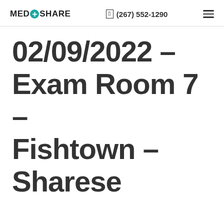MEDCOSHARE  (267) 552-1290
02/09/2022 – Exam Room 7 – Fishtown – Sharese